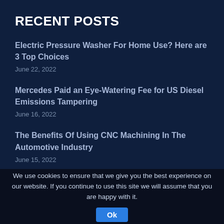RECENT POSTS
Electric Pressure Washer For Home Use? Here are 3 Top Choices
June 22, 2022
Mercedes Paid an Eye-Watering Fee for US Diesel Emissions Tampering
June 16, 2022
The Benefits Of Using CNC Machining In The Automotive Industry
June 15, 2022
Do's and Don'ts before you dispose of your car
We use cookies to ensure that we give you the best experience on our website. If you continue to use this site we will assume that you are happy with it.
Ok